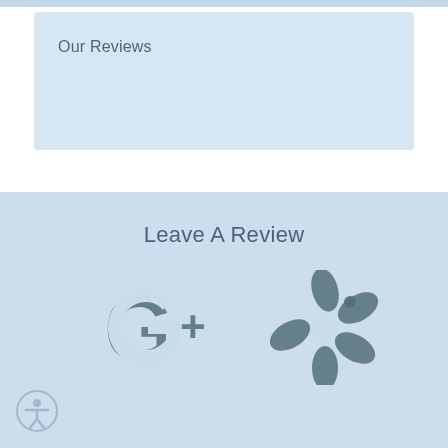Our Reviews
Leave A Review
[Figure (logo): Google+ logo icon in slate blue-grey color]
[Figure (logo): Yelp logo icon (burst/flower shape) in slate blue-grey color]
[Figure (illustration): Accessibility icon button (person in circle) bottom left]